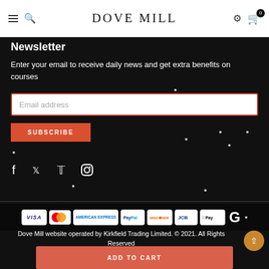DOVE MILL
Newsletter
Enter your email to receive daily news and get extra benefits on courses
Email address
SUBSCRIBE
[Figure (other): Social media icons: Facebook, Twitter, Pinterest, Instagram]
[Figure (other): Payment method logos: VISA, Mastercard, American Express, PayPal, Discover, JCB, Apple Pay, Google Pay]
Dove Mill website operated by Kirkfield Trading Limited. © 2021. All Rights Reserved
ADD TO CART